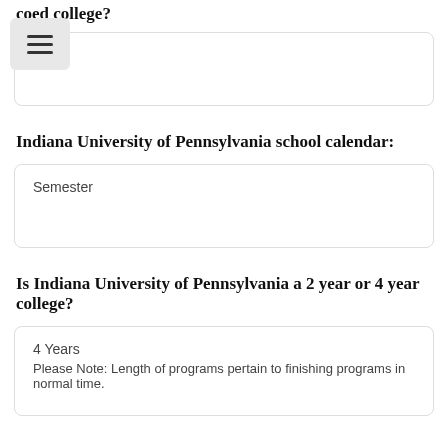coed college?
Yes
Indiana University of Pennsylvania school calendar:
Semester
Is Indiana University of Pennsylvania a 2 year or 4 year college?
4 Years
Please Note: Length of programs pertain to finishing programs in normal time.